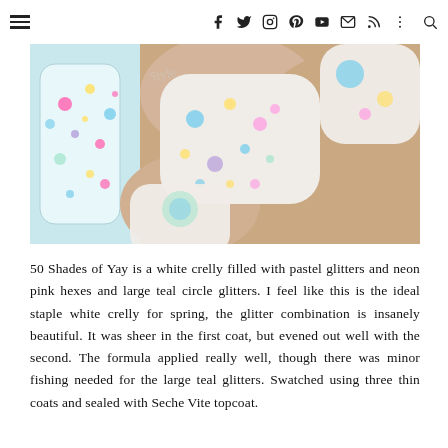Navigation bar with hamburger menu and social icons (f, twitter, instagram, pinterest, youtube, email, rss, more, search)
[Figure (photo): Close-up photograph of fingernails painted with a white crelly polish containing pastel glitter dots (teal, pink, yellow, purple) and a nail polish bottle with colorful confetti glitter, against a skin tone background.]
50 Shades of Yay is a white crelly filled with pastel glitters and neon pink hexes and large teal circle glitters. I feel like this is the ideal staple white crelly for spring, the glitter combination is insanely beautiful. It was sheer in the first coat, but evened out well with the second. The formula applied really well, though there was minor fishing needed for the large teal glitters. Swatched using three thin coats and sealed with Seche Vite topcoat.